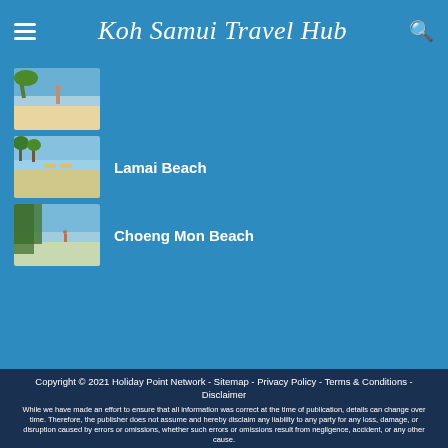Koh Samui Travel Hub
[Figure (photo): Thumbnail photo of a beach with a person walking]
[Figure (photo): Thumbnail photo of Lamai Beach with beach chairs and trees]
Lamai Beach
[Figure (photo): Thumbnail photo of Choeng Mon Beach with calm waters]
Choeng Mon Beach
Copyright © 2021 Holiday Point Network - Sitemap - Privacy Policy - Terms & Conditions - Disclaimer
While we have made an effort to ensure that all information was correct at the time of publication, details can change over time. Therefore, the publisher does not assume and hereby disclaim any liability to any party for any loss, damage, or disruption caused by errors or omissions, whether such errors or omissions result from negligence, accident, or any other cause.